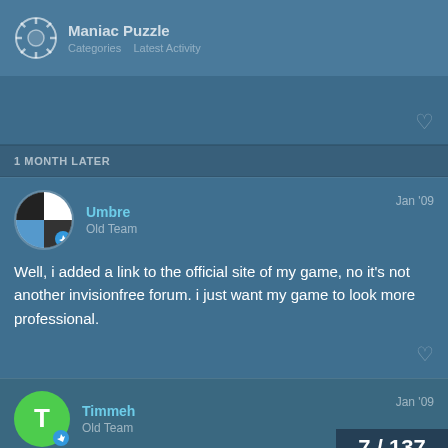Maniac Puzzle
1 MONTH LATER
[Figure (screenshot): Forum post by Umbre (Old Team), Jan '09: Well, i added a link to the official site of my game, no it's not another invisionfree forum. i just want my game to look more professional.]
[Figure (screenshot): Forum post by Timmeh (Old Team), Jan '09, partially visible with page counter 7/137]